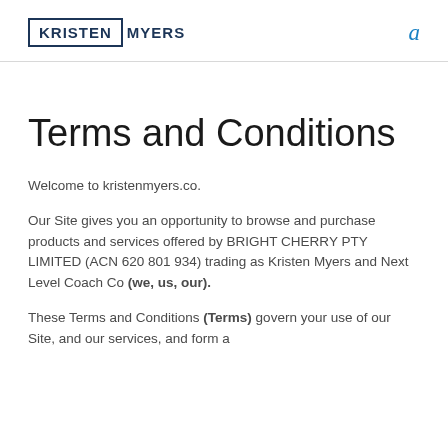KRISTEN MYERS
Terms and Conditions
Welcome to kristenmyers.co.
Our Site gives you an opportunity to browse and purchase products and services offered by BRIGHT CHERRY PTY LIMITED (ACN 620 801 934) trading as Kristen Myers and Next Level Coach Co (we, us, our).
These Terms and Conditions (Terms) govern your use of our Site, and our services, and form a